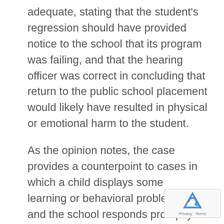adequate, stating that the student's regression should have provided notice to the school that its program was failing, and that the hearing officer was correct in concluding that return to the public school placement would likely have resulted in physical or emotional harm to the student.
As the opinion notes, the case provides a counterpoint to cases in which a child displays some learning or behavioral problems and the school responds promptly and reasonably with tailored interventions short of an immediate